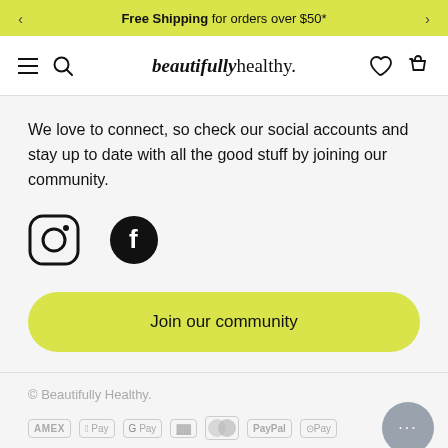Free Shipping for orders over $50*
[Figure (logo): beautifully healthy. logo in the navigation bar with menu, search, heart and basket icons]
We love to connect, so check our social accounts and stay up to date with all the good stuff by joining our community.
[Figure (illustration): Instagram and Facebook social media icons]
Join our community
© Beautifully Healthy.
[Figure (illustration): Payment icons: AMEX, Apple Pay, Google Pay, some card logos, Mastercard, PayPal, OPay]